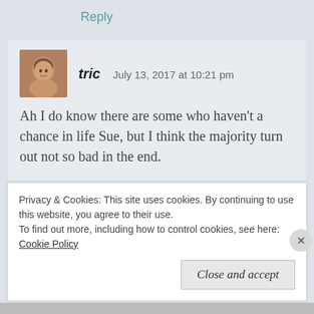Reply
tric   July 13, 2017 at 10:21 pm
Ah I do know there are some who haven’t a chance in life Sue, but I think the majority turn out not so bad in the end.
Privacy & Cookies: This site uses cookies. By continuing to use this website, you agree to their use.
To find out more, including how to control cookies, see here: Cookie Policy
Close and accept